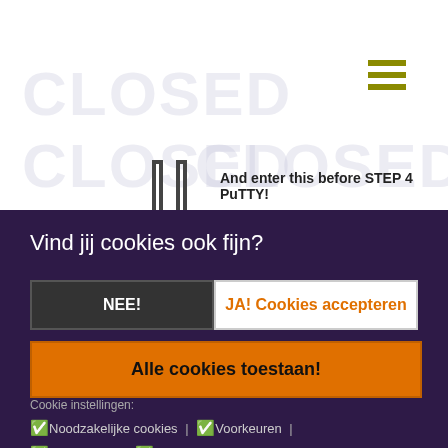[Figure (screenshot): Website screenshot with hamburger menu icon, CLOSED watermark text, step icon (bracket shape), and instructional text about entering before STEP 4 PuTTY]
And enter this before STEP 4 PuTTY!
So you can connect in a few seconds!
Vind jij cookies ook fijn?
NEE!
JA! Cookies accepteren
Alle cookies toestaan!
Cookie instellingen:
✅ Noodzakelijke cookies | ✅ Voorkeuren | ✅ Statistieken | ✅ Marketing